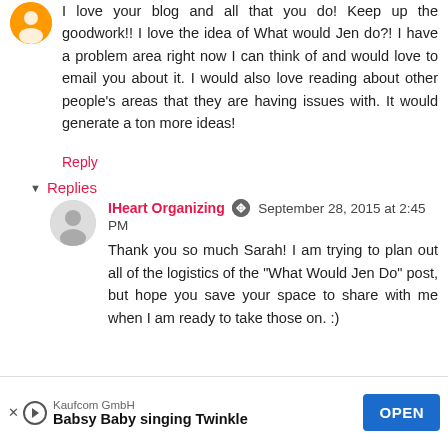I love your blog and all that you do! Keep up the goodwork!! I love the idea of What would Jen do?! I have a problem area right now I can think of and would love to email you about it. I would also love reading about other people's areas that they are having issues with. It would generate a ton more ideas!
Reply
Replies
IHeart Organizing  September 28, 2015 at 2:45 PM
Thank you so much Sarah! I am trying to plan out all of the logistics of the "What Would Jen Do" post, but hope you save your space to share with me when I am ready to take those on. :)
Shantique Rozell  September 28, 2015 at 2:51
[Figure (infographic): Advertisement banner: Kaufcom GmbH, Babsy Baby singing Twinkle, with OPEN button]